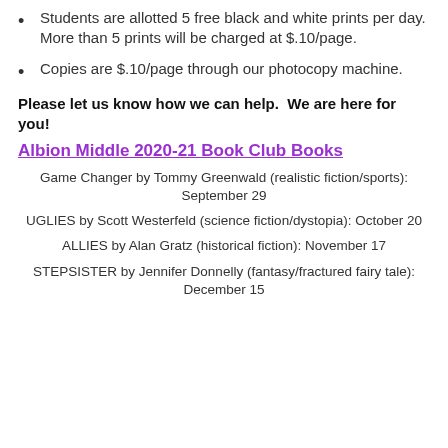Students are allotted 5 free black and white prints per day. More than 5 prints will be charged at $.10/page.
Copies are $.10/page through our photocopy machine.
Please let us know how we can help.  We are here for you!
Albion Middle 2020-21 Book Club Books
Game Changer by Tommy Greenwald (realistic fiction/sports): September 29
UGLIES by Scott Westerfeld (science fiction/dystopia): October 20
ALLIES by Alan Gratz (historical fiction): November 17
STEPSISTER by Jennifer Donnelly (fantasy/fractured fairy tale): December 15